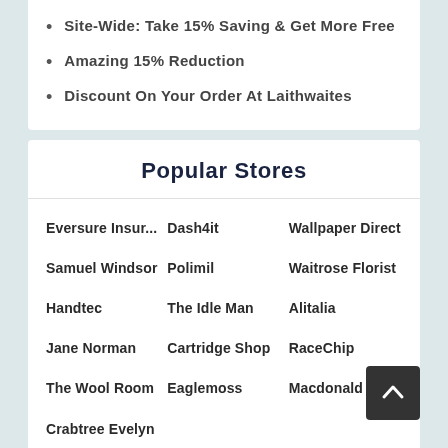Site-Wide: Take 15% Saving & Get More Free
Amazing 15% Reduction
Discount On Your Order At Laithwaites
Popular Stores
Eversure Insur...
Dash4it
Wallpaper Direct
Samuel Windsor
Polimil
Waitrose Florist
Handtec
The Idle Man
Alitalia
Jane Norman
Cartridge Shop
RaceChip
The Wool Room
Eaglemoss
Macdonald Ho...
Crabtree Evelyn